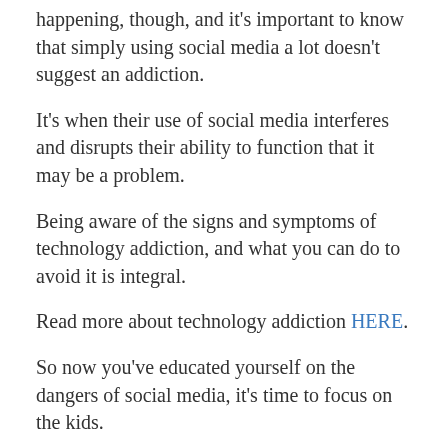happening, though, and it's important to know that simply using social media a lot doesn't suggest an addiction.
It's when their use of social media interferes and disrupts their ability to function that it may be a problem.
Being aware of the signs and symptoms of technology addiction, and what you can do to avoid it is integral.
Read more about technology addiction HERE.
So now you've educated yourself on the dangers of social media, it's time to focus on the kids.